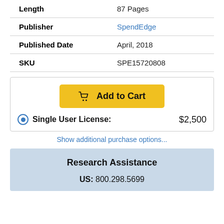|  |  |
| --- | --- |
| Length | 87 Pages |
| Publisher | SpendEdge |
| Published Date | April, 2018 |
| SKU | SPE15720808 |
[Figure (other): Add to Cart button (yellow) with shopping cart icon]
Single User License: $2,500
Show additional purchase options...
Research Assistance
US: 800.298.5699